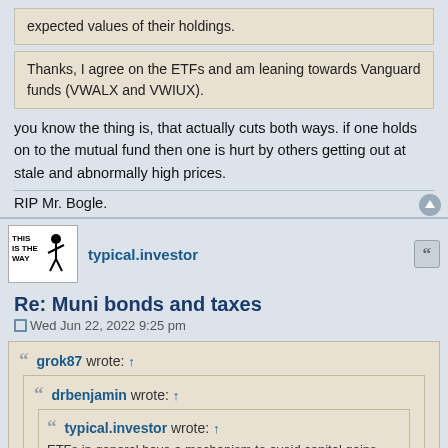expected values of their holdings.
Thanks, I agree on the ETFs and am leaning towards Vanguard funds (VWALX and VWIUX).
you know the thing is, that actually cuts both ways. if one holds on to the mutual fund then one is hurt by others getting out at stale and abnormally high prices.
RIP Mr. Bogle.
typical.investor
Re: Muni bonds and taxes
Wed Jun 22, 2022 9:25 pm
grok87 wrote: ↑
drbenjamin wrote: ↑
typical.investor wrote: ↑
ETFs in general have a mechanism to avoid capital gains